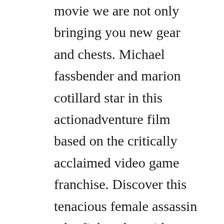movie we are not only bringing you new gear and chests. Michael fassbender and marion cotillard star in this actionadventure film based on the critically acclaimed video game franchise. Discover this tenacious female assassin who fights alongside aguilar during the spanish inquisition. Assassins creed 2016 trailers and clips cal lynch travels back in time to 15thcentury spain through a revolutionary technology that unlocks the genetic memories contained in his dna. Assassins creed soundtrack 2016 movie list of songs. Justin kurzel was directed this movie and starring by